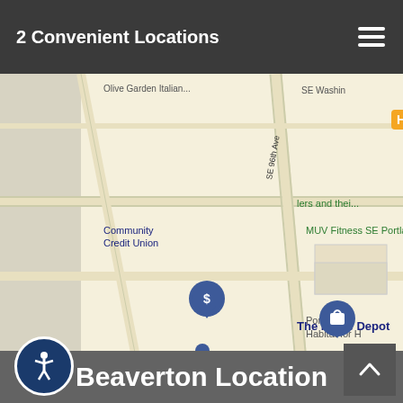2 Convenient Locations
[Figure (map): Google Maps screenshot showing SE Portland area with markers for Community Credit Union, The Home Depot, MUV Fitness SE Portland, and Portland R... Habitat for H... Location pins visible including a dollar-sign marker and a shopping bag marker near The Home Depot on SE 96th Ave.]
Beaverton Location